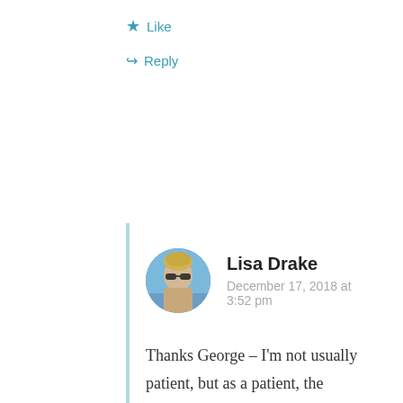Like
Reply
Lisa Drake
December 17, 2018 at 3:52 pm
Thanks George – I'm not usually patient, but as a patient, the dynamic is different. I chose not to make too many suggestions along the way as I had the clinical problem very much at the front of my mind. Only after everything turned out ok, did i feel it